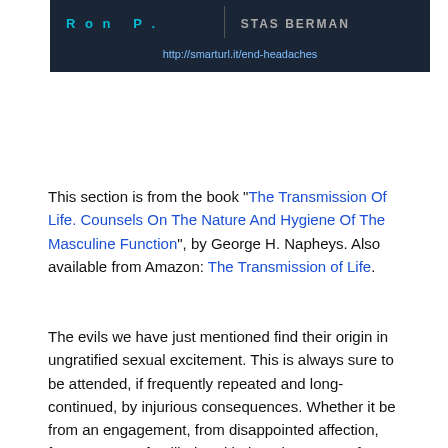[Figure (other): Dark banner with author names 'Ron P.' in teal and 'STAS BERMAN' in gray/white, with URL http://smarturl.it/end-headaches below]
This section is from the book "The Transmission Of Life. Counsels On The Nature And Hygiene Of The Masculine Function", by George H. Napheys. Also available from Amazon: The Transmission of Life.
The evils we have just mentioned find their origin in ungratified sexual excitement. This is always sure to be attended, if frequently repeated and long-continued, by injurious consequences. Whether it be from an engagement, from disappointed affection, from too great familiarity with the other sex, or from entertaining lascivious thoughts, any such excitement leads to weakening of power, and sometimes to actual disease. Degeneration or chronic inflammation of the gland